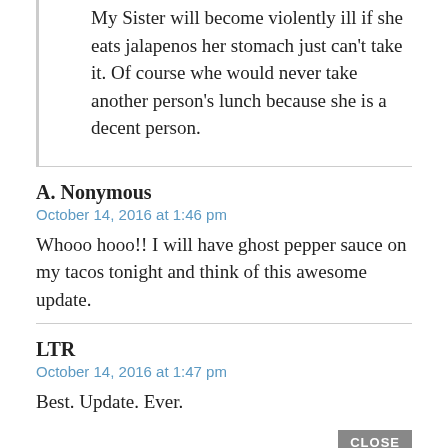My Sister will become violently ill if she eats jalapenos her stomach just can't take it. Of course whe would never take another person's lunch because she is a decent person.
A. Nonymous
October 14, 2016 at 1:46 pm
Whooo hooo!! I will have ghost pepper sauce on my tacos tonight and think of this awesome update.
LTR
October 14, 2016 at 1:47 pm
Best. Update. Ever.
CLOSE
▼ Collapse 1 reply
Juninergreen